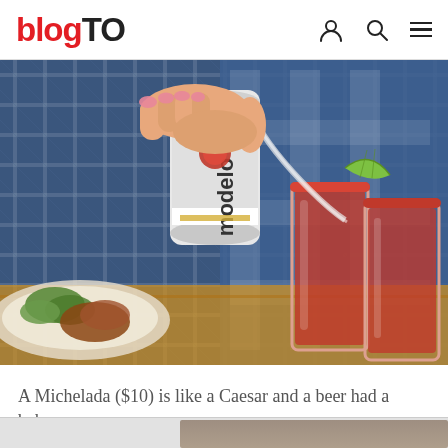blogTO
[Figure (photo): A hand pouring a can of Modelo Especial beer into a tall glass with a chili-salt rim and lime wedge garnish, with a red michelada drink already in the glass. A plate of food is visible in the background.]
A Michelada ($10) is like a Caesar and a beer had a baby.